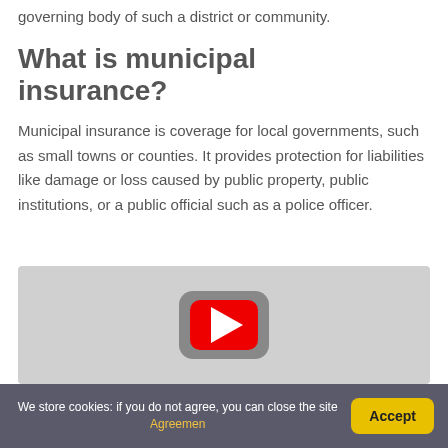governing body of such a district or community.
What is municipal insurance?
Municipal insurance is coverage for local governments, such as small towns or counties. It provides protection for liabilities like damage or loss caused by public property, public institutions, or a public official such as a police officer.
[Figure (screenshot): YouTube video embed thumbnail showing a gray background with a rounded rectangle gray shape and a red YouTube play button icon in the center]
We store cookies: if you do not agree, you can close the site Agreemen